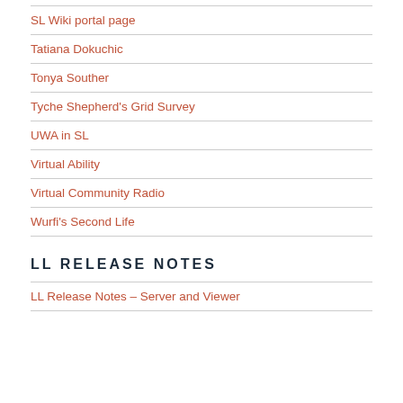SL Wiki portal page
Tatiana Dokuchic
Tonya Souther
Tyche Shepherd's Grid Survey
UWA in SL
Virtual Ability
Virtual Community Radio
Wurfi's Second Life
LL RELEASE NOTES
LL Release Notes – Server and Viewer